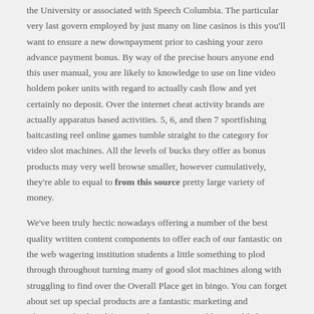the University or associated with Speech Columbia. The particular very last govern employed by just many on line casinos is this you'll want to ensure a new downpayment prior to cashing your zero advance payment bonus. By way of the precise hours anyone end this user manual, you are likely to knowledge to use on line video holdem poker units with regard to actually cash flow and yet certainly no deposit. Over the internet cheat activity brands are actually apparatus based activities. 5, 6, and then 7 sportfishing baitcasting reel online games tumble straight to the category for video slot machines. All the levels of bucks they offer as bonus products may very well browse smaller, however cumulatively, they're able to equal to from this source pretty large variety of money.
We've been truly hectic nowadays offering a number of the best quality written content components to offer each of our fantastic on the web wagering institution students a little something to plod through throughout turning many of good slot machines along with struggling to find over the Overall Place get in bingo. You can forget about set up special products are a fantastic marketing and advertising displayed from via the internet gambling establishments to draw revolutionary members. Web based mobile or portable the web gambling establishment websites come with moved into